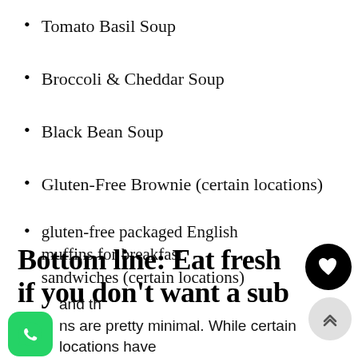Tomato Basil Soup
Broccoli & Cheddar Soup
Black Bean Soup
Gluten-Free Brownie (certain locations)
gluten-free packaged English muffins for breakfast sandwiches (certain locations)
Bottom line: Eat fresh if you don't want a sub
contamination is a high risk at Subway, and the options are pretty minimal. While certain locations have